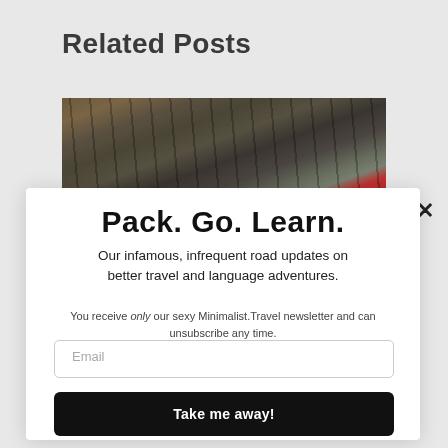Related Posts
[Figure (photo): Interior of a large train station with iron/steel roof structure and a red train partially visible at the bottom]
Pack. Go. Learn.
Our infamous, infrequent road updates on better travel and language adventures.
You receive only our sexy Minimalist.Travel newsletter and can unsubscribe any time.
Email
Take me away!